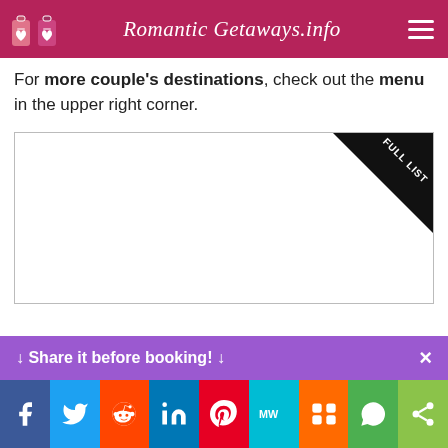Romantic Getaways.info
For more couple's destinations, check out the menu in the upper right corner.
[Figure (other): White content box with a black diagonal 'FULL LIST' badge in the upper right corner]
↓ Share it before booking! ↓
[Figure (other): Social media sharing icons row: Facebook, Twitter, Reddit, LinkedIn, Pinterest, MeWe, Mix, WhatsApp, Share]